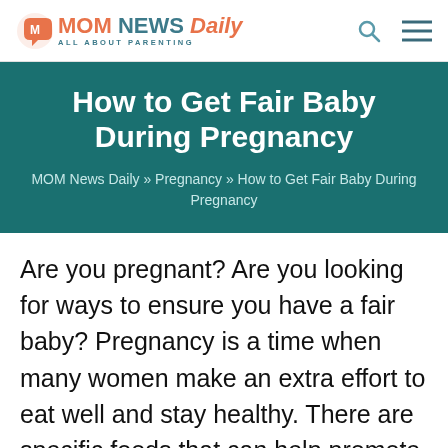MOM NEWS Daily — ALL ABOUT PARENTING
How to Get Fair Baby During Pregnancy
MOM News Daily » Pregnancy » How to Get Fair Baby During Pregnancy
Are you pregnant? Are you looking for ways to ensure you have a fair baby? Pregnancy is a time when many women make an extra effort to eat well and stay healthy. There are specific foods that can help promote fairness in your